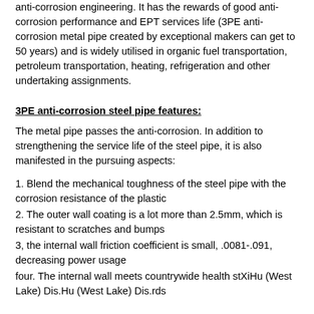anti-corrosion engineering. It has the rewards of good anti-corrosion performance and EPT services life (3PE anti-corrosion metal pipe created by exceptional makers can get to 50 years) and is widely utilised in organic fuel transportation, petroleum transportation, heating, refrigeration and other undertaking assignments.
3PE anti-corrosion steel pipe features:
The metal pipe passes the anti-corrosion. In addition to strengthening the service life of the steel pipe, it is also manifested in the pursuing aspects:
1. Blend the mechanical toughness of the steel pipe with the corrosion resistance of the plastic
2. The outer wall coating is a lot more than 2.5mm, which is resistant to scratches and bumps
3, the internal wall friction coefficient is small, .0081-.091, decreasing power usage
four. The internal wall meets countrywide health stXiHu (West Lake) Dis.Hu (West Lake) Dis.rds